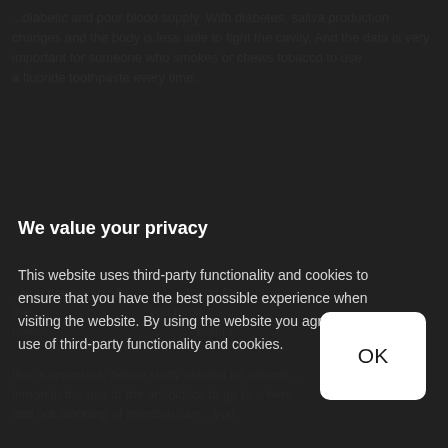...smoking and chewing tobacco... important for someone who smokes or chews tobacco to use...
We value your privacy
This website uses third-party functionality and cookies to ensure that you have the best possible experience when visiting the website. By using the website you agree to our use of third-party functionality and cookies.
OK